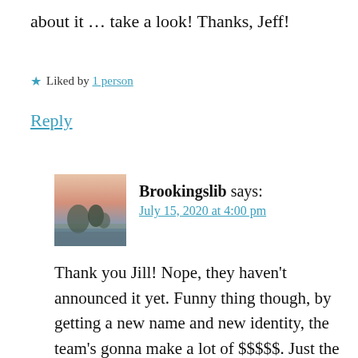about it … take a look! Thanks, Jeff!
★ Liked by 1 person
Reply
Brookingslib says: July 15, 2020 at 4:00 pm
Thank you Jill! Nope, they haven't announced it yet. Funny thing though, by getting a new name and new identity, the team's gonna make a lot of $$$$$. Just the marketing alone. Yes, many fans are pissed but the bottom line is the bottom line to